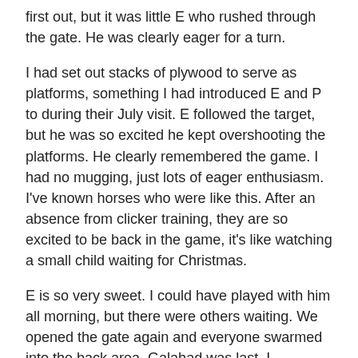first out, but it was little E who rushed through the gate.  He was clearly eager for a turn.
I had set out stacks of plywood to serve as platforms, something I had introduced E and P to during their July visit.  E followed the target, but he was so excited he kept overshooting the platforms.  He clearly remembered the game.  I had no mugging, just lots of eager enthusiasm. I've known horses who were like this. After an absence from clicker training, they are so excited to be back in the game, it's like watching a small child waiting for Christmas.
E is so very sweet.  I could have played with him all morning, but there were others waiting.  We opened the gate again and everyone swarmed into the back area.  Galahad was last.  I managed to close the gate before he could go through, so now it was Marla's turn to play, this time in the front section.
I was getting the camera set up, when little E squirmed his way